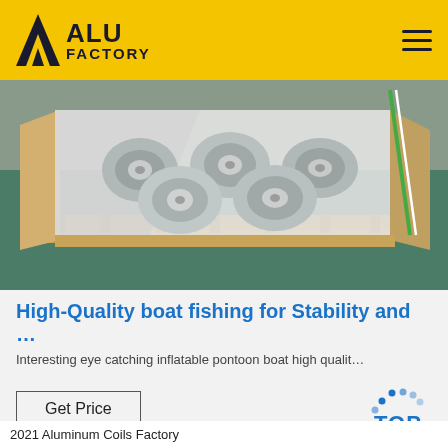ALU FACTORY
[Figure (photo): Aluminum coils/tubes bundled on a wooden pallet in a warehouse with green floor]
High-Quality boat fishing for Stability and …
Interesting eye catching inflatable pontoon boat high qualit…
Get Price
2021 Aluminum Coils Factory